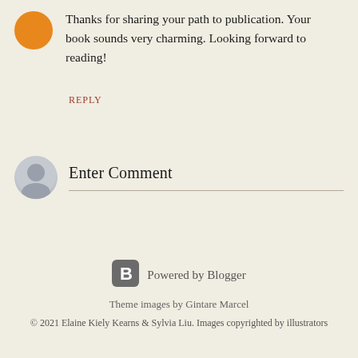Thanks for sharing your path to publication. Your book sounds very charming. Looking forward to reading!
REPLY
Enter Comment
[Figure (logo): Blogger logo - B icon in gray rounded square]
Powered by Blogger
Theme images by Gintare Marcel
© 2021 Elaine Kiely Kearns & Sylvia Liu. Images copyrighted by illustrators